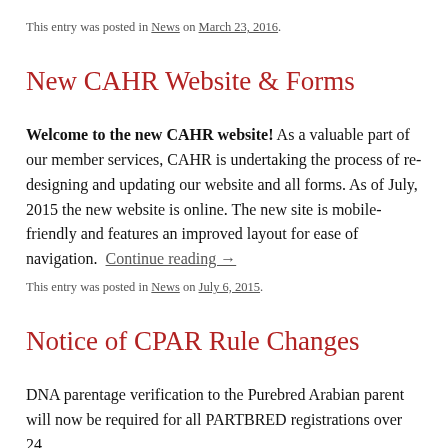This entry was posted in News on March 23, 2016.
New CAHR Website & Forms
Welcome to the new CAHR website! As a valuable part of our member services, CAHR is undertaking the process of re-designing and updating our website and all forms. As of July, 2015 the new website is online. The new site is mobile-friendly and features an improved layout for ease of navigation.  Continue reading →
This entry was posted in News on July 6, 2015.
Notice of CPAR Rule Changes
DNA parentage verification to the Purebred Arabian parent will now be required for all PARTBRED registrations over 24